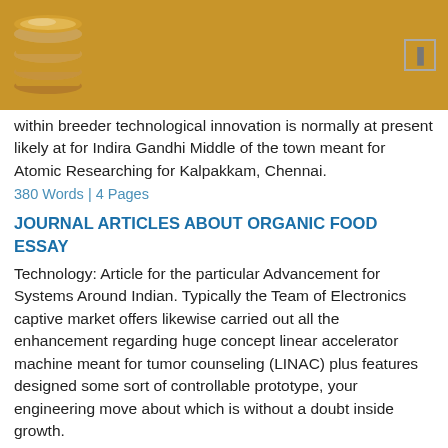[Figure (logo): Stacked disks logo on golden/tan header bar]
within breeder technological innovation is normally at present likely at for Indira Gandhi Middle of the town meant for Atomic Researching for Kalpakkam, Chennai.
380 Words | 4 Pages
JOURNAL ARTICLES ABOUT ORGANIC FOOD ESSAY
Technology: Article for the particular Advancement for Systems Around Indian. Typically the Team of Electronics captive market offers likewise carried out all the enhancement regarding huge concept linear accelerator machine meant for tumor counseling (LINAC) plus features designed some sort of controllable prototype, your engineering move about which is without a doubt inside growth.
729 Words | 1 Pages